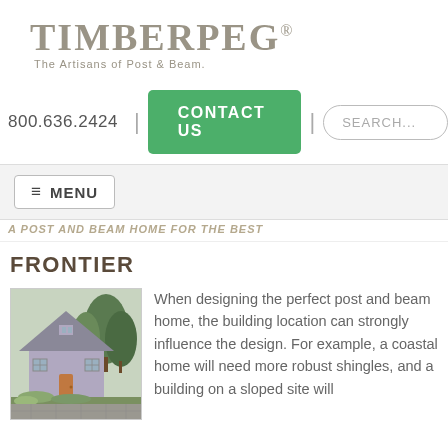[Figure (logo): Timberpeg logo with text 'The Artisans of Post & Beam.' in serif font, olive/taupe color]
800.636.2424 | CONTACT US | SEARCH...
≡ MENU
A POST AND BEAM HOME FOR THE BEST
FRONTIER
[Figure (photo): Photo of a post and beam home (Frontier model), a cottage-style house with grey/purple siding, steep roof, dormer window, surrounded by evergreen trees and gardens]
When designing the perfect post and beam home, the building location can strongly influence the design. For example, a coastal home will need more robust shingles, and a building on a sloped site will